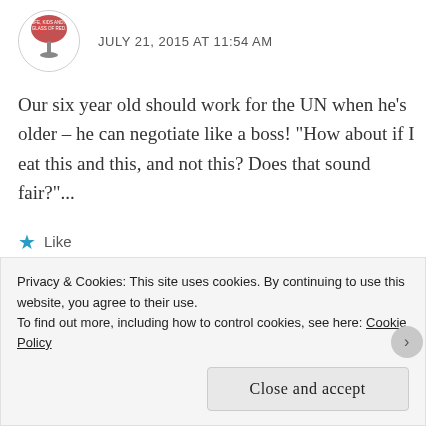JULY 21, 2015 AT 11:54 AM
Our six year old should work for the UN when he's older – he can negotiate like a boss! "How about if I eat this and this, and not this? Does that sound fair?"...
★ Like
Reply
[Figure (illustration): Apply button (blue rectangle with white text 'Apply')]
[Figure (photo): Photo of a man with beard in casual shirt, thinking pose, circular/rounded rectangle crop]
Privacy & Cookies: This site uses cookies. By continuing to use this website, you agree to their use.
To find out more, including how to control cookies, see here: Cookie Policy
Close and accept